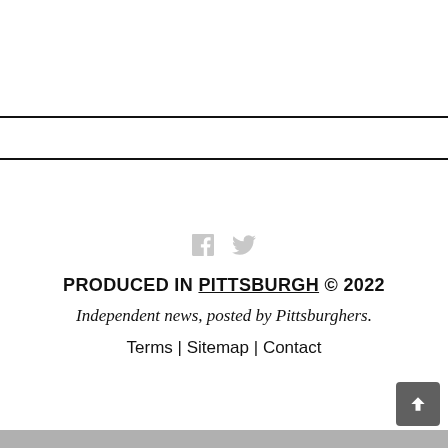PRODUCED IN PITTSBURGH © 2022
Independent news, posted by Pittsburghers.
Terms | Sitemap | Contact